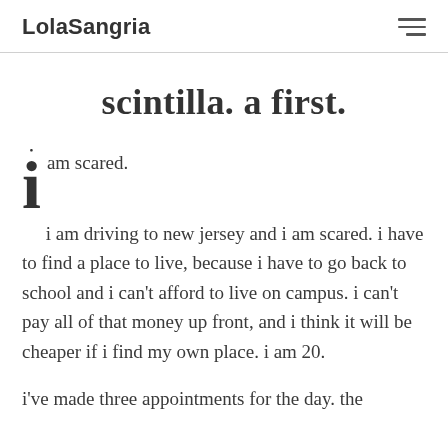LolaSangria
scintilla. a first.
i am scared.
i am driving to new jersey and i am scared. i have to find a place to live, because i have to go back to school and i can't afford to live on campus. i can't pay all of that money up front, and i think it will be cheaper if i find my own place. i am 20.
i've made three appointments for the day. the